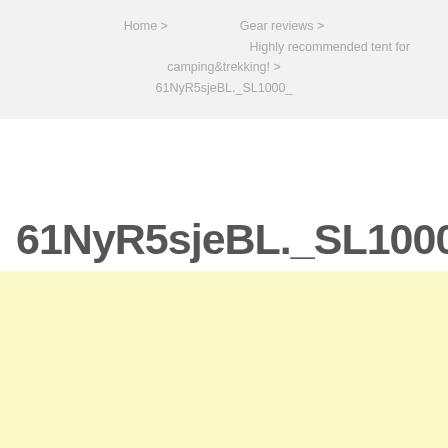Home > 　　　　 Gear reviews > 　　　　　　　　　　　　　　　　 Highly recommended tent for camping&trekking! > 61NyR5sjeBL._SL1000_
61NyR5sjeBL._SL1000_
[Figure (other): Light yellow/cream colored background area (advertisement or image placeholder)]